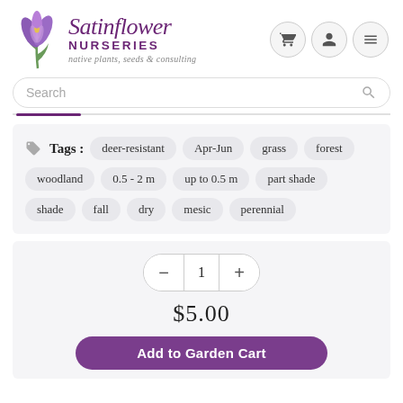[Figure (logo): Satinflower Nurseries logo with purple crocus flower illustration]
native plants, seeds & consulting
Search
Tags: deer-resistant Apr-Jun grass forest woodland 0.5 - 2 m up to 0.5 m part shade shade fall dry mesic perennial
1
$5.00
Add to Garden Cart